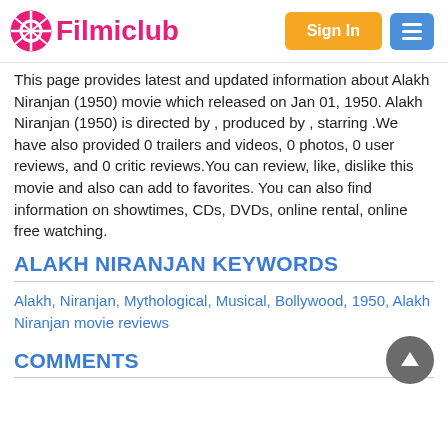Filmiclub
This page provides latest and updated information about Alakh Niranjan (1950) movie which released on Jan 01, 1950. Alakh Niranjan (1950) is directed by , produced by , starring .We have also provided 0 trailers and videos, 0 photos, 0 user reviews, and 0 critic reviews.You can review, like, dislike this movie and also can add to favorites. You can also find information on showtimes, CDs, DVDs, online rental, online free watching.
ALAKH NIRANJAN KEYWORDS
Alakh, Niranjan, Mythological, Musical, Bollywood, 1950, Alakh Niranjan movie reviews
COMMENTS